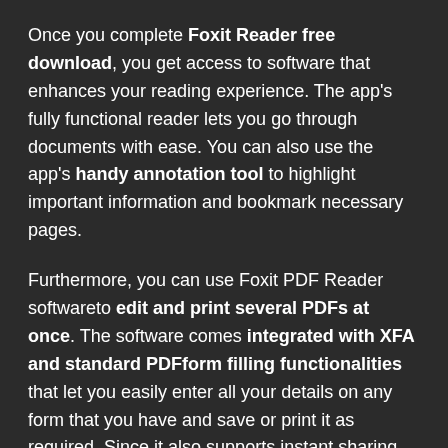Once you complete Foxit Reader free download, you get access to software that enhances your reading experience. The app's fully functional reader lets you go through documents with ease. You can also use the app's handy annotation tool to highlight important information and bookmark necessary pages.
Furthermore, you can use Foxit PDF Reader software to edit and print several PDFs at once. The software comes integrated with XFA and standard PDF form filling functionalities that let you easily enter all your details on any form that you have and save or print it as required. Since it also supports instant sharing, you can edit any document and save and share the version via email or social media channels instantly.